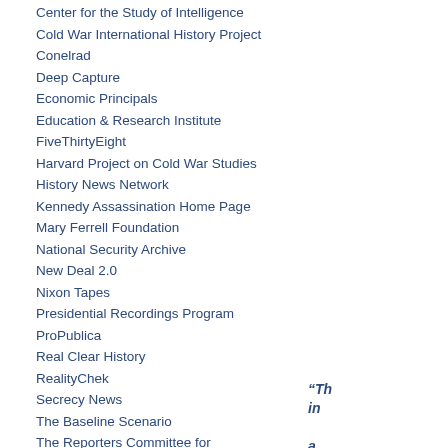Center for the Study of Intelligence
Cold War International History Project
Conelrad
Deep Capture
Economic Principals
Education & Research Institute
FiveThirtyEight
Harvard Project on Cold War Studies
History News Network
Kennedy Assassination Home Page
Mary Ferrell Foundation
National Security Archive
New Deal 2.0
Nixon Tapes
Presidential Recordings Program
ProPublica
Real Clear History
RealityChek
Secrecy News
The Baseline Scenario
The Reporters Committee for Freedom of the Press
“Th in a